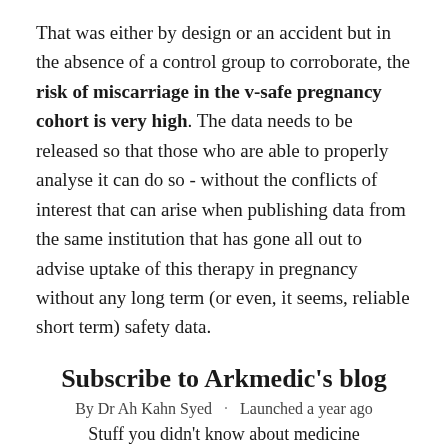That was either by design or an accident but in the absence of a control group to corroborate, the risk of miscarriage in the v-safe pregnancy cohort is very high. The data needs to be released so that those who are able to properly analyse it can do so - without the conflicts of interest that can arise when publishing data from the same institution that has gone all out to advise uptake of this therapy in pregnancy without any long term (or even, it seems, reliable short term) safety data.
Subscribe to Arkmedic's blog
By Dr Ah Kahn Syed · Launched a year ago
Stuff you didn't know about medicine